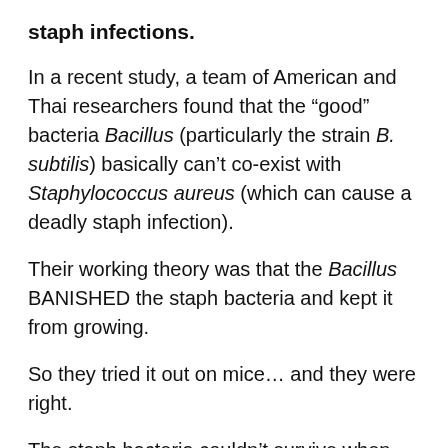staph infections.
In a recent study, a team of American and Thai researchers found that the “good” bacteria Bacillus (particularly the strain B. subtilis) basically can’t co-exist with Staphylococcus aureus (which can cause a deadly staph infection).
Their working theory was that the Bacillus BANISHED the staph bacteria and kept it from growing.
So they tried it out on mice… and they were right.
The staph bacteria couldn’t survive when Bacillus bacteria spores were around.